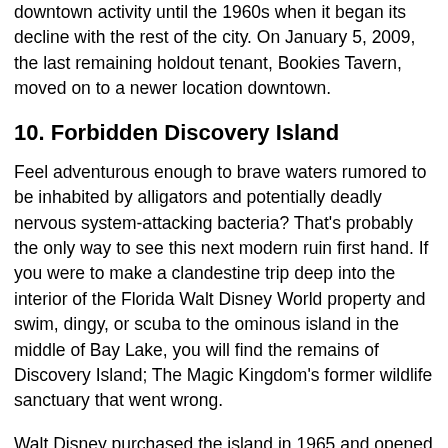downtown activity until the 1960s when it began its decline with the rest of the city. On January 5, 2009, the last remaining holdout tenant, Bookies Tavern, moved on to a newer location downtown.
10. Forbidden Discovery Island
Feel adventurous enough to brave waters rumored to be inhabited by alligators and potentially deadly nervous system-attacking bacteria? That’s probably the only way to see this next modern ruin first hand. If you were to make a clandestine trip deep into the interior of the Florida Walt Disney World property and swim, dingy, or scuba to the ominous island in the middle of Bay Lake, you will find the remains of Discovery Island; The Magic Kingdom’s former wildlife sanctuary that went wrong.
Walt Disney purchased the island in 1965 and opened (what